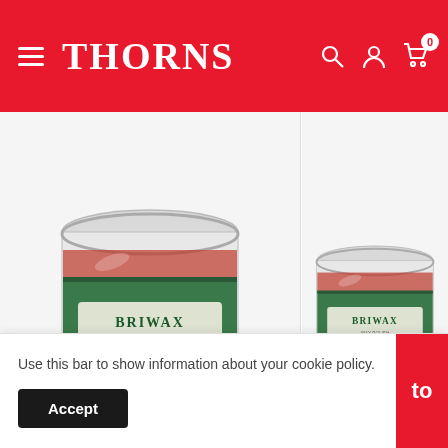THORNS
[Figure (photo): Briwax Wax Polish tin (Walnut 400g) - round metal tin with green label showing BRIWAX branding]
Briwax Wax Polish Walnut 400g
£17.75
[Figure (photo): Briwax Wax Polish tin (Brown 400g) - round metal tin with green label showing BRIWAX branding, partially cropped]
Briwax Wax Polish Brown 400g
£17.75
Use this bar to show information about your cookie policy.